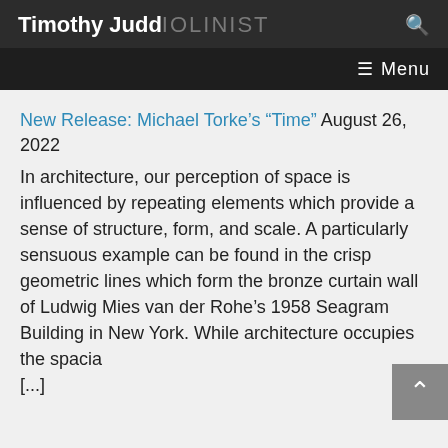Timothy Judd VIOLINIST  Menu
New Release: Michael Torke’s “Time” August 26, 2022
In architecture, our perception of space is influenced by repeating elements which provide a sense of structure, form, and scale. A particularly sensuous example can be found in the crisp geometric lines which form the bronze curtain wall of Ludwig Mies van der Rohe’s 1958 Seagram Building in New York. While architecture occupies the spacia [...]